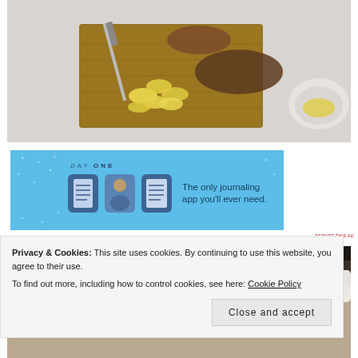[Figure (photo): Hands slicing a banana on a wooden cutting board on a white table, with a white bowl containing banana slices in the background]
[Figure (other): DAY ONE app advertisement banner with blue background. Shows three app icons and text: 'The only journaling app you'll ever need.']
REPORT THIS AD
[Figure (photo): Partial view of a kitchen counter with bowls and cups, partially obscured by cookie consent bar]
Privacy & Cookies: This site uses cookies. By continuing to use this website, you agree to their use.
To find out more, including how to control cookies, see here: Cookie Policy
Close and accept